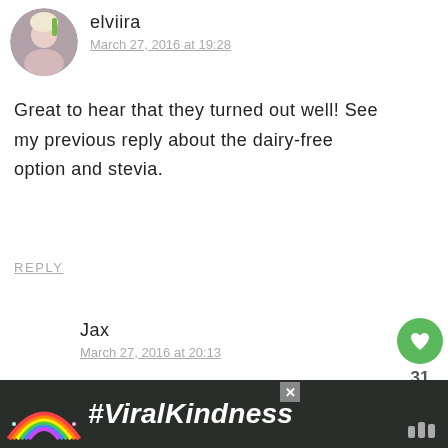[Figure (photo): Avatar photo of user 'elviira' — circular profile picture of a woman with blonde hair holding something green]
elviira
March 27, 2016 at 19:28
Great to hear that they turned out well! See my previous reply about the dairy-free option and stevia.
REPLY
Jax
March 27, 2016 at 20:13
Thanks for your suggestion about the coconut milk. I would assume that
[Figure (infographic): Advertisement banner with dark background, rainbow illustration, '#ViralKindness' text in white italic bold, close button X, and a logo on the right]
31